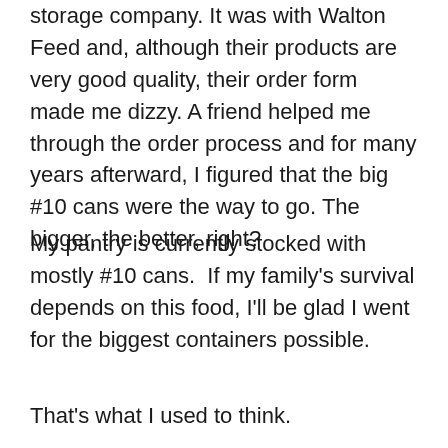storage company. It was with Walton Feed and, although their products are very good quality, their order form made me dizzy. A friend helped me through the order process and for many years afterward, I figured that the big #10 cans were the way to go. The bigger, the better, right?
My pantry is currently stocked with mostly #10 cans.  If my family's survival depends on this food, I'll be glad I went for the biggest containers possible.
That's what I used to think.